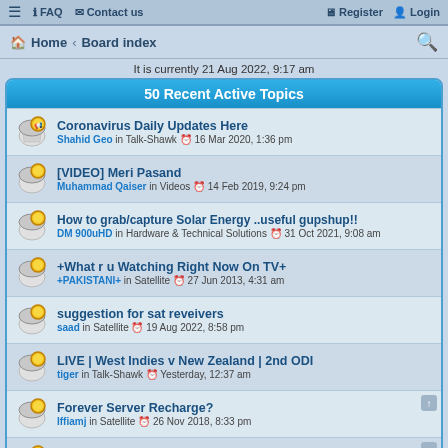FAQ | Contact us | Register | Login
Home · Board index
It is currently 21 Aug 2022, 9:17 am
50 Recent Active Topics
Coronavirus Daily Updates Here — Shahid Geo in Talk-Shawk — 16 Mar 2020, 1:36 pm
[VIDEO] Meri Pasand — Muhammad Qaiser in Videos — 14 Feb 2019, 9:24 pm
How to grab/capture Solar Energy ..useful gupshup!! — DM 900uHD in Hardware & Technical Solutions — 31 Oct 2021, 9:08 am
+What r u Watching Right Now On TV+ — +PAKISTANI+ in Satellite — 27 Jun 2013, 4:31 am
suggestion for sat reveivers — saad in Satellite — 19 Aug 2022, 8:58 pm
LIVE | West Indies v New Zealand | 2nd ODI — tiger in Talk-Shawk — Yesterday, 12:37 am
Forever Server Recharge? — Iffiamj in Satellite — 26 Nov 2018, 8:33 pm
Need Information About Remove Viruses In Pc — devil001 in Hardware & Technical Solutions — 06 Aug 2022, 11:57 am